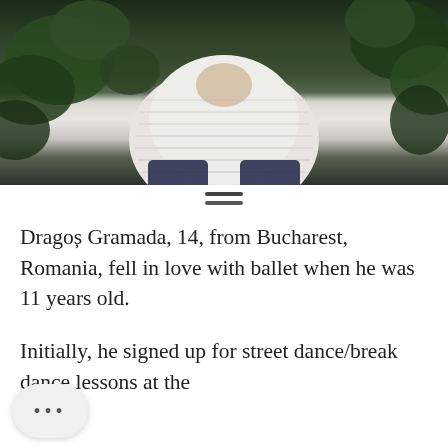[Figure (photo): Photo of a young person wearing a white ribbed top, with green foliage in the background. Only the torso and lower face area are partially visible.]
Dragoș Gramada, 14, from Bucharest, Romania, fell in love with ballet when he was 11 years old.
Initially, he signed up for street dance/break dance lessons at the dance studio "Dance Planet", thinking that ballet was not for him.
At the time his older brother was taking ballet lessons, he was around 3-4 years old. He didn't like the discipline, nor the seriousness of the teacher. However, as he grew older, the day